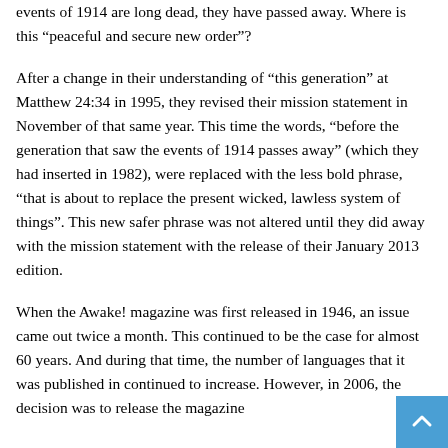events of 1914 are long dead, they have passed away. Where is this “peaceful and secure new order”?
After a change in their understanding of “this generation” at Matthew 24:34 in 1995, they revised their mission statement in November of that same year. This time the words, “before the generation that saw the events of 1914 passes away” (which they had inserted in 1982), were replaced with the less bold phrase, “that is about to replace the present wicked, lawless system of things”. This new safer phrase was not altered until they did away with the mission statement with the release of their January 2013 edition.
When the Awake! magazine was first released in 1946, an issue came out twice a month. This continued to be the case for almost 60 years. And during that time, the number of languages that it was published in continued to increase. However, in 2006, the decision was to release the magazine